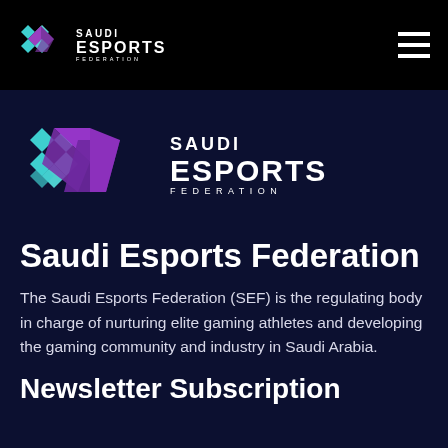Saudi Esports Federation - navigation bar with logo and hamburger menu
[Figure (logo): Saudi Esports Federation logo (diamond/hexagon pattern in teal and purple) with text 'SAUDI ESPORTS FEDERATION' in the center of the page]
Saudi Esports Federation
The Saudi Esports Federation (SEF) is the regulating body in charge of nurturing elite gaming athletes and developing the gaming community and industry in Saudi Arabia.
Newsletter Subscription